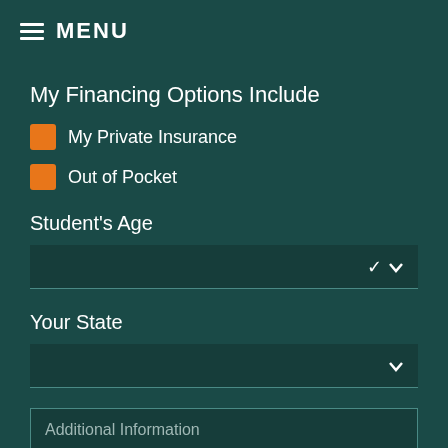MENU
My Financing Options Include
My Private Insurance
Out of Pocket
Student's Age
Your State
Additional Information